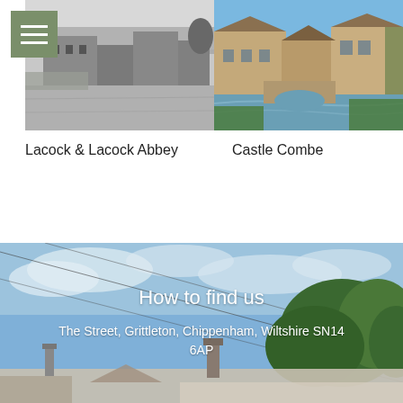[Figure (photo): Black and white photo of Lacock Abbey and surroundings]
[Figure (photo): Color photo of Castle Combe village with stone bridge over river]
Lacock & Lacock Abbey
Castle Combe
[Figure (photo): Wide landscape photo of rooftops and trees under blue sky with clouds, used as background for 'How to find us' section]
How to find us
The Street, Grittleton, Chippenham, Wiltshire SN14 6AP